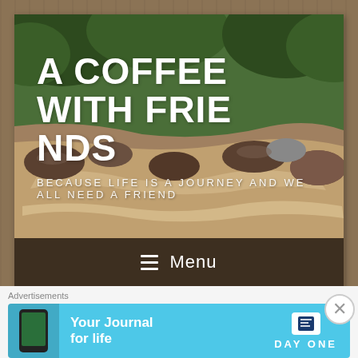[Figure (photo): Hero banner showing a rocky river stream with lush green foliage, with large bold white text overlay reading 'A COFFEE WITH FRIENDS' and subtitle 'BECAUSE LIFE IS A JOURNEY AND WE ALL NEED A FRIEND']
A COFFEE WITH FRIENDS
BECAUSE LIFE IS A JOURNEY AND WE ALL NEED A FRIEND
≡ Menu
TAG: RELIGION
Advertisements
[Figure (screenshot): Advertisement banner for DayOne app — 'Your Journal for life' in blue background with phone image and DayOne logo]